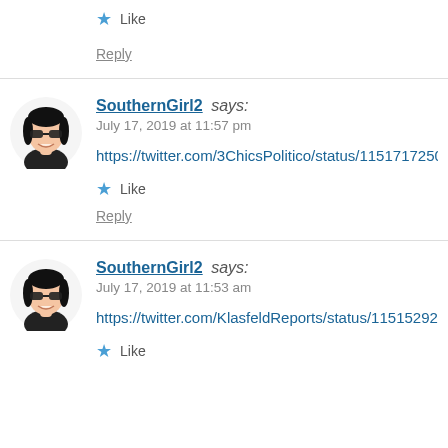Like
Reply
SouthernGirl2 says:
July 17, 2019 at 11:57 pm
https://twitter.com/3ChicsPolitico/status/115171725043…
Like
Reply
SouthernGirl2 says:
July 17, 2019 at 11:53 am
https://twitter.com/KlasfeldReports/status/11515292589…
Like